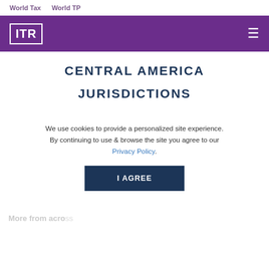World Tax   World TP
[Figure (logo): ITR logo - white box with ITR text on purple background with hamburger menu]
CENTRAL AMERICA

JURISDICTIONS
[Figure (photo): Person avatar/profile photo of Mattias Cruz Cano, partially visible]
Mattias Cruz Cano
We use cookies to provide a personalized site experience. By continuing to use & browse the site you agree to our Privacy Policy.
I AGREE
More from acro...